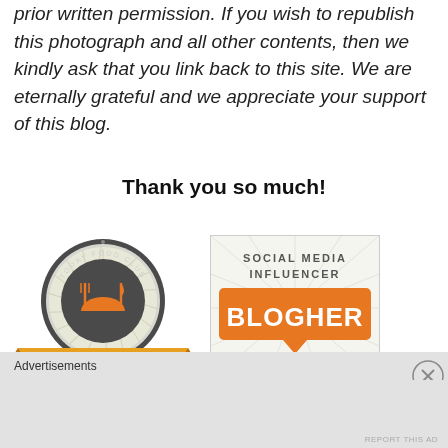prior written permission. If you wish to republish this photograph and all other contents, then we kindly ask that you link back to this site. We are eternally grateful and we appreciate your support of this blog.
Thank you so much!
[Figure (logo): Today Food Club Contributor badge - circular gray badge with fork and knife, orange arc, with a gold ribbon banner at the bottom reading CONTRIBUTOR]
[Figure (logo): Social Media Influencer BlogHer badge - white box with gray sunburst background, text SOCIAL MEDIA INFLUENCER above orange speech bubble box with BLOGHER in white text]
Advertisements